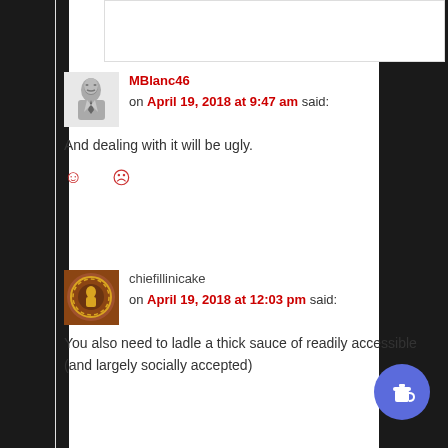MBlanc46 on April 19, 2018 at 9:47 am said:
And dealing with it will be ugly.
chiefillinicake on April 19, 2018 at 12:03 pm said:
You also need to ladle a thick sauce of readily accessible (and largely socially accepted)